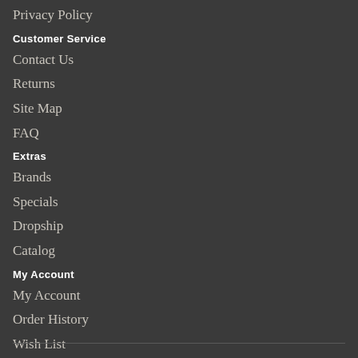Privacy Policy
Customer Service
Contact Us
Returns
Site Map
FAQ
Extras
Brands
Specials
Dropship
Catalog
My Account
My Account
Order History
Wish List
Newsletter